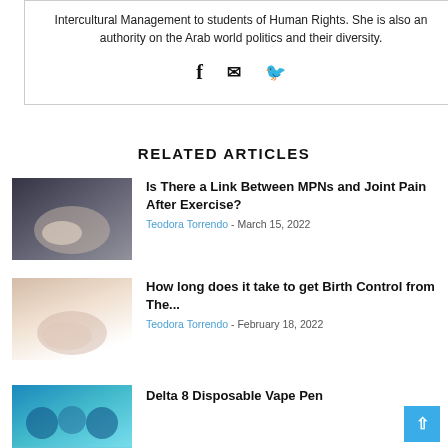Intercultural Management to students of Human Rights. She is also an authority on the Arab world politics and their diversity.
[Figure (infographic): Social sharing icons: Facebook (f), Email (envelope), Twitter (bird)]
RELATED ARTICLES
[Figure (photo): Photo of clasped hands with a ring, dark moody tones]
Is There a Link Between MPNs and Joint Pain After Exercise?
Teodora Torrendo - March 15, 2022
[Figure (photo): Photo of person in white dress with hands on belly]
How long does it take to get Birth Control from The...
Teodora Torrendo - February 18, 2022
[Figure (photo): Photo with teal/blue tones, partially visible]
Delta 8 Disposable Vape Pen